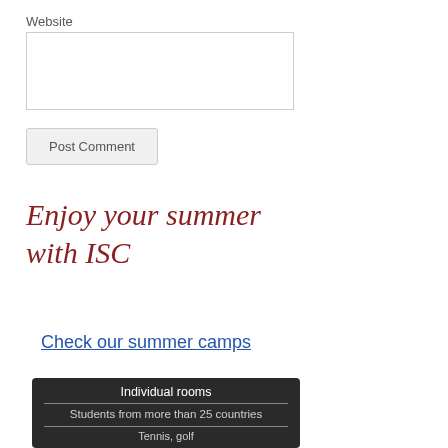Website
[input field]
Post Comment
Enjoy your summer with ISC
Check our summer camps
[Figure (infographic): Dark card showing: Individual rooms, Students from more than 25 countries, Tennis golf (partially visible)]